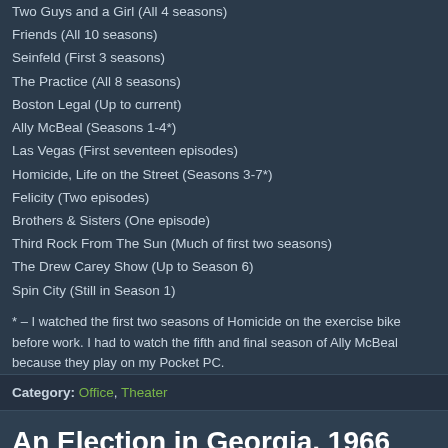Two Guys and a Girl (All 4 seasons)
Friends (All 10 seasons)
Seinfeld (First 3 seasons)
The Practice (All 8 seasons)
Boston Legal (Up to current)
Ally McBeal (Seasons 1-4*)
Las Vegas (First seventeen episodes)
Homicide, Life on the Street (Seasons 3-7*)
Felicity (Two episodes)
Brothers & Sisters (One episode)
Third Rock From The Sun (Much of first two seasons)
The Drew Carey Show (Up to Season 6)
Spin City (Still in Season 1)
* – I watched the first two seasons of Homicide on the exercise bike before work. I had to watch the fifth and final season of Ally McBeal because they play on my Pocket PC.
Category: Office, Theater
An Election in Georgia, 1966